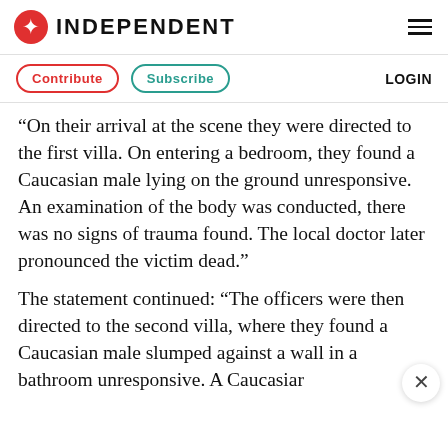INDEPENDENT
Contribute  Subscribe  LOGIN
“On their arrival at the scene they were directed to the first villa. On entering a bedroom, they found a Caucasian male lying on the ground unresponsive. An examination of the body was conducted, there was no signs of trauma found. The local doctor later pronounced the victim dead.”
The statement continued: “The officers were then directed to the second villa, where they found a Caucasian male slumped against a wall in a bathroom unresponsive. A Caucasiar